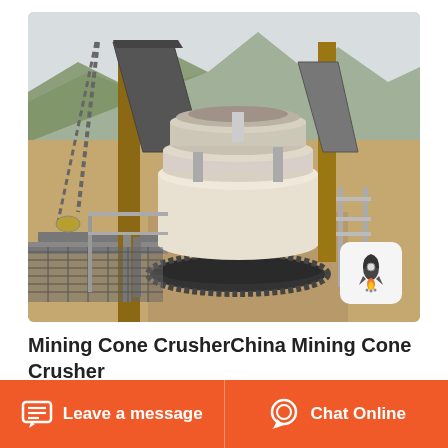[Figure (photo): Outdoor photo of a mining cone crusher machine at an industrial site. A large white/cream colored cone crusher sits on a metal base with a gear ring. Metal conveyor chutes feed material into the top. Industrial framework with chains visible on the left. Mountain landscape visible in the background. A small rocket/product badge icon overlaid in the bottom-right corner of the photo.]
Mining Cone CrusherChina Mining Cone Crusher
Leave a message
Chat Online